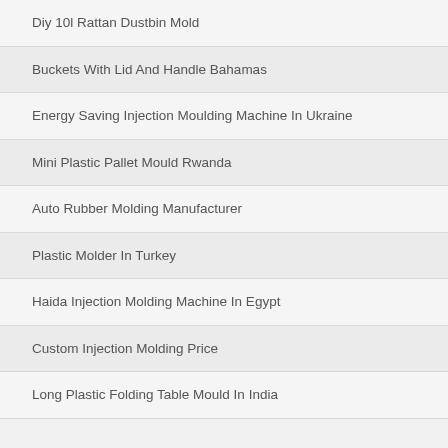Diy 10l Rattan Dustbin Mold
Buckets With Lid And Handle Bahamas
Energy Saving Injection Moulding Machine In Ukraine
Mini Plastic Pallet Mould Rwanda
Auto Rubber Molding Manufacturer
Plastic Molder In Turkey
Haida Injection Molding Machine In Egypt
Custom Injection Molding Price
Long Plastic Folding Table Mould In India